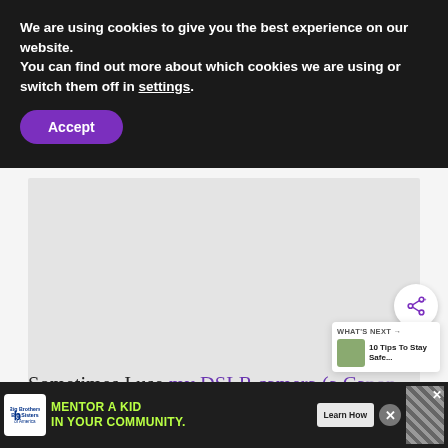We are using cookies to give you the best experience on our website.
You can find out more about which cookies we are using or switch them off in settings.
Accept
[Figure (other): Large image placeholder area (gray box)]
[Figure (infographic): Share button (circular white button with share icon)]
WHAT'S NEXT → 10 Tips To Stay Safe...
Sometimes I use my DSLR camera (a Canon 70D, which has since been replaced with the
[Figure (infographic): Advertisement banner: Big Brothers Big Sisters logo, 'MENTOR A KID IN YOUR COMMUNITY.' with 'Learn How' button and close buttons]